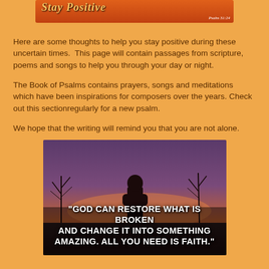[Figure (photo): Partial top banner image with orange/red gradient background and decorative text, with reference 'Psalm 31:24' in bottom right corner]
Here are some thoughts to help you stay positive during these uncertain times.  This page will contain passages from scripture, poems and songs to help you through your day or night.
The Book of Psalms contains prayers, songs and meditations which have been inspirations for composers over the years. Check out this sectionregularly for a new psalm.
We hope that the writing will remind you that you are not alone.
[Figure (photo): Silhouette of a person standing against a sunset/dusk sky with bare trees, overlaid with inspirational quote text: "GOD CAN RESTORE WHAT IS BROKEN AND CHANGE IT INTO SOMETHING AMAZING. ALL YOU NEED IS FAITH."]